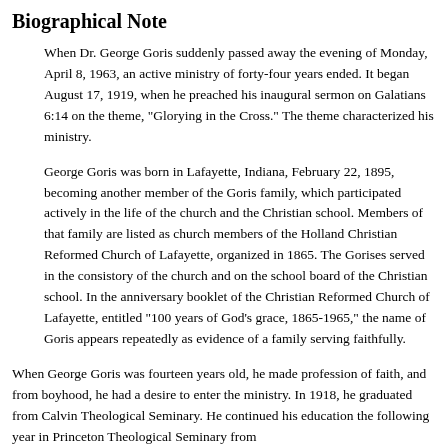Biographical Note
When Dr. George Goris suddenly passed away the evening of Monday, April 8, 1963, an active ministry of forty-four years ended. It began August 17, 1919, when he preached his inaugural sermon on Galatians 6:14 on the theme, "Glorying in the Cross." The theme characterized his ministry.
George Goris was born in Lafayette, Indiana, February 22, 1895, becoming another member of the Goris family, which participated actively in the life of the church and the Christian school. Members of that family are listed as church members of the Holland Christian Reformed Church of Lafayette, organized in 1865. The Gorises served in the consistory of the church and on the school board of the Christian school. In the anniversary booklet of the Christian Reformed Church of Lafayette, entitled "100 years of God’s grace, 1865-1965," the name of Goris appears repeatedly as evidence of a family serving faithfully.
When George Goris was fourteen years old, he made profession of faith, and from boyhood, he had a desire to enter the ministry. In 1918, he graduated from Calvin Theological Seminary. He continued his education the following year in Princeton Theological Seminary from